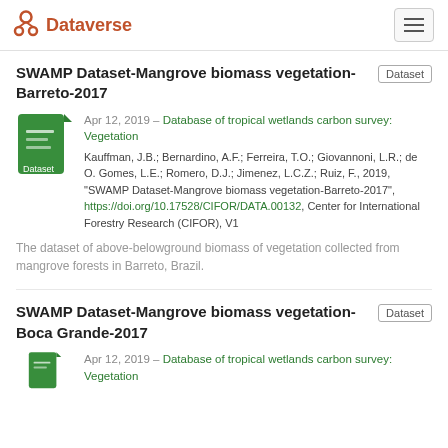Dataverse
SWAMP Dataset-Mangrove biomass vegetation-Barreto-2017
Apr 12, 2019 – Database of tropical wetlands carbon survey: Vegetation
Kauffman, J.B.; Bernardino, A.F.; Ferreira, T.O.; Giovannoni, L.R.; de O. Gomes, L.E.; Romero, D.J.; Jimenez, L.C.Z.; Ruiz, F., 2019, "SWAMP Dataset-Mangrove biomass vegetation-Barreto-2017", https://doi.org/10.17528/CIFOR/DATA.00132, Center for International Forestry Research (CIFOR), V1
The dataset of above-belowground biomass of vegetation collected from mangrove forests in Barreto, Brazil.
SWAMP Dataset-Mangrove biomass vegetation-Boca Grande-2017
Apr 12, 2019 – Database of tropical wetlands carbon survey: Vegetation